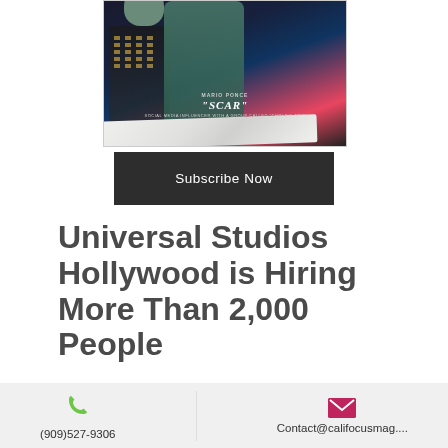[Figure (photo): Movie poster for 'Scar' featuring Mario Ponce, a social media influencer with a group called 'Cholo's Try', showing a person in a teal/green jacket against a city building background with a film roll unrolling across the bottom]
[Figure (other): Dark rectangular button with text 'Subscribe Now' in white]
Universal Studios Hollywood is Hiring More Than 2,000 People
Universal Studios Hollywood is Hiring More Than 2,000 People
(909)527-9306
Contact@califocusmag....